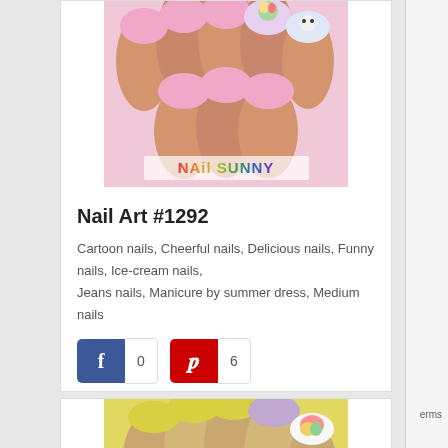[Figure (photo): Close-up photo of hands with pink nail art decorated with cartoon ice cream and character designs, with 'NAIL SUNNY' text watermark at the bottom]
Nail Art #1292
Cartoon nails, Cheerful nails, Delicious nails, Funny nails, Ice-cream nails, Jeans nails, Manicure by summer dress, Medium nails
[Figure (photo): Close-up photo of hands with yellow and purple nail art with ice-cream design accent nail]